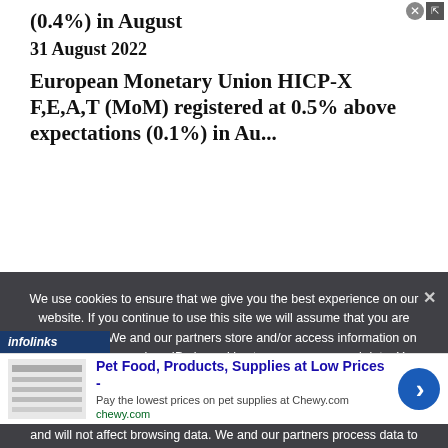(0.4%) in August
31 August 2022
European Monetary Union HICP-X F,E,A,T (MoM) registered at 0.5% above expectations (0.1%) in August
We use cookies to ensure that we give you the best experience on our website. If you continue to use this site we will assume that you are happy with it. We and our partners store and/or access information on a device, such as unique IDs in cookies to process personal data. You may accept or manage your choices by clicking below, including your right to object where legitimate interest is used, or at any time in the privacy policy page. These choices will be signalled to our partners and will not affect browsing data. We and our partners process data to provide: Use precise geolocation data. Actively scan device characteristics for identification. Store and/or
[Figure (infographic): Infolinks advertisement label in bottom-left corner]
[Figure (infographic): Advertisement banner: Pet Food, Products, Supplies at Low Prices - chewy.com]